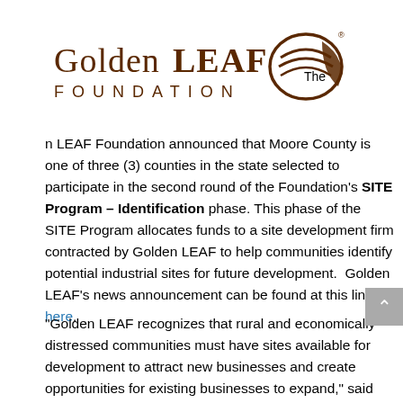[Figure (logo): Golden LEAF Foundation logo with brown text and decorative circular leaf/globe graphic]
The Golden LEAF Foundation announced that Moore County is one of three (3) counties in the state selected to participate in the second round of the Foundation's SITE Program – Identification phase. This phase of the SITE Program allocates funds to a site development firm contracted by Golden LEAF to help communities identify potential industrial sites for future development. Golden LEAF's news announcement can be found at this link here.
“Golden LEAF recognizes that rural and economically distressed communities must have sites available for development to attract new businesses and create opportunities for existing businesses to expand,” said Scott T. Hamilton, Golden LEAF President, Chief